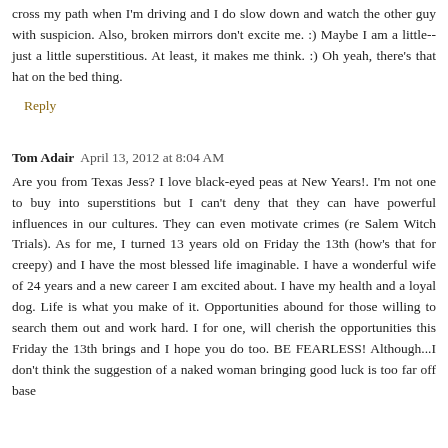cross my path when I'm driving and I do slow down and watch the other guy with suspicion. Also, broken mirrors don't excite me. :) Maybe I am a little--just a little superstitious. At least, it makes me think. :) Oh yeah, there's that hat on the bed thing.
Reply
Tom Adair  April 13, 2012 at 8:04 AM
Are you from Texas Jess? I love black-eyed peas at New Years!. I'm not one to buy into superstitions but I can't deny that they can have powerful influences in our cultures. They can even motivate crimes (re Salem Witch Trials). As for me, I turned 13 years old on Friday the 13th (how's that for creepy) and I have the most blessed life imaginable. I have a wonderful wife of 24 years and a new career I am excited about. I have my health and a loyal dog. Life is what you make of it. Opportunities abound for those willing to search them out and work hard. I for one, will cherish the opportunities this Friday the 13th brings and I hope you do too. BE FEARLESS! Although...I don't think the suggestion of a naked woman bringing good luck is too far off base